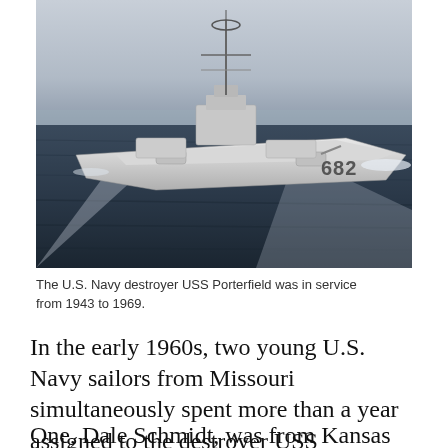[Figure (photo): Black and white photograph of the U.S. Navy destroyer USS Porterfield (hull number 682) underway at sea, viewed from above and at an angle. The ship is moving through dark ocean water with a white wake visible.]
The U.S. Navy destroyer USS Porterfield was in service from 1943 to 1969.
In the early 1960s, two young U.S. Navy sailors from Missouri simultaneously spent more than a year assigned to the destroyer USS Porterfield.
One, Dale Schmidt, was from Kansas City,